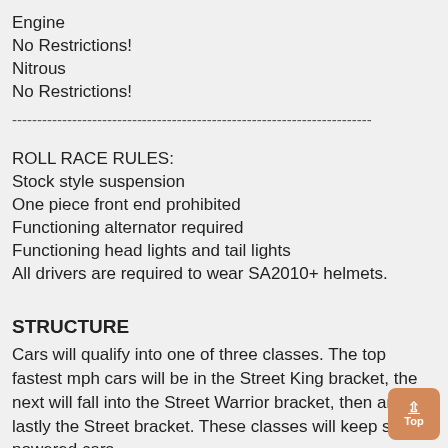Engine
No Restrictions!
Nitrous
No Restrictions!
------------------------------------------------------------------------
ROLL RACE RULES:
Stock style suspension
One piece front end prohibited
Functioning alternator required
Functioning head lights and tail lights
All drivers are required to wear SA2010+ helmets.
STRUCTURE
Cars will qualify into one of three classes. The top fastest mph cars will be in the Street King bracket, the next will fall into the Street Warrior bracket, then and lastly the Street bracket. These classes will keep similar powered cars